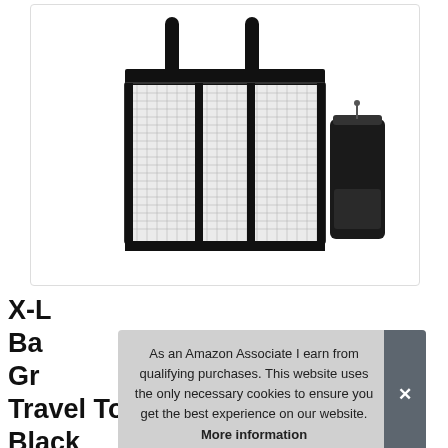[Figure (photo): Product photo of a large black mesh beach tote bag with black trim and handles, shown next to a smaller black mesh cylindrical pouch, both on a white background.]
X-L Mesh Beach Bag Double Tote Bag Grocery Gr... Travel Tote Bag Black
As an Amazon Associate I earn from qualifying purchases. This website uses the only necessary cookies to ensure you get the best experience on our website. More information